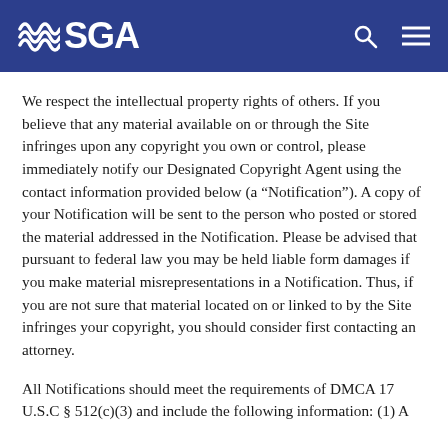MSGA
We respect the intellectual property rights of others. If you believe that any material available on or through the Site infringes upon any copyright you own or control, please immediately notify our Designated Copyright Agent using the contact information provided below (a “Notification”). A copy of your Notification will be sent to the person who posted or stored the material addressed in the Notification. Please be advised that pursuant to federal law you may be held liable form damages if you make material misrepresentations in a Notification. Thus, if you are not sure that material located on or linked to by the Site infringes your copyright, you should consider first contacting an attorney.
All Notifications should meet the requirements of DMCA 17 U.S.C § 512(c)(3) and include the following information: (1) A physical or electronic signature of a person authorized to act on behalf of the owner of an exclusive right that is allegedly infringed;